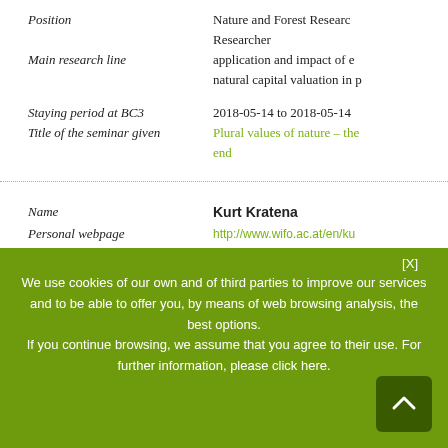Position: Nature and Forest Research
Researcher
Main research line: application and impact of e... natural capital valuation in p...
Staying period at BC3: 2018-05-14 to 2018-05-14
Title of the seminar given: Plural values of nature – the... end
Name: Kurt Kratena
Personal webpage: http://www.wifo.ac.at/en/ku...
Institution: CESAR (Centre of Economic... Research)
[X]
We use cookies of our own and of third parties to improve our services and to be able to offer you, by means of web browsing analysis, the best options.
If you continue browsing, we assume that you agree to their use. For further information, please click here.